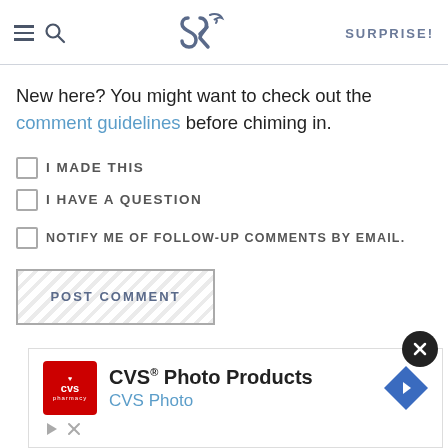SK [logo] SURPRISE!
New here? You might want to check out the comment guidelines before chiming in.
I MADE THIS
I HAVE A QUESTION
NOTIFY ME OF FOLLOW-UP COMMENTS BY EMAIL.
POST COMMENT
744 COMMENTS ON
[Figure (other): CVS Photo Products advertisement with CVS pharmacy logo and navigation arrow icon. Text: CVS® Photo Products, CVS Photo]